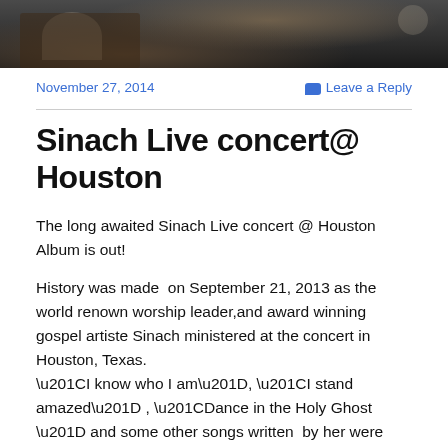[Figure (photo): Cropped photo of a person at a concert, partially visible, dark background]
November 27, 2014
Leave a Reply
Sinach Live concert@ Houston
The long awaited Sinach Live concert @ Houston Album is out!
History was made  on September 21, 2013 as the world renown worship leader,and award winning gospel artiste Sinach ministered at the concert in Houston, Texas. “I know who I am”, “I stand amazed” , “Dance in the Holy Ghost ” and some other songs written  by her were sung at the concert. It was a glorious event marked with the